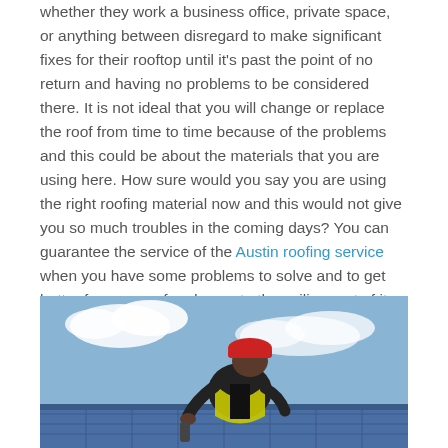whether they work a business office, private space, or anything between disregard to make significant fixes for their rooftop until it's past the point of no return and having no problems to be considered there. It is not ideal that you will change or replace the roof from time to time because of the problems and this could be about the materials that you are using here. How sure would you say you are using the right roofing material now and this would not give you so much troubles in the coming days? You can guarantee the service of the Austin roofing service when you have some problems to solve and to get better for your roof and even to the ceiling part of it.
[Figure (photo): A roofing worker wearing a yellow high-visibility vest and red hard hat, leaning over a roof with a tool in hand, working on roofing material. Blue sky with clouds in the background.]